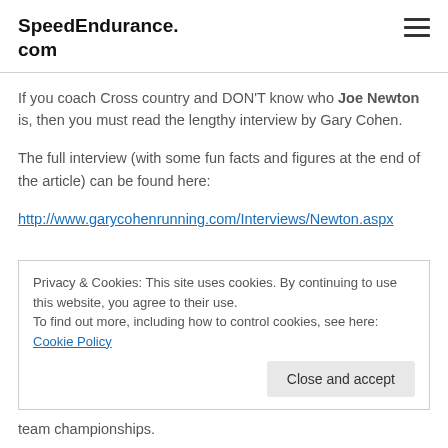SpeedEndurance.com
If you coach Cross country and DON'T know who Joe Newton is, then you must read the lengthy interview by Gary Cohen.
The full interview (with some fun facts and figures at the end of the article) can be found here:
http://www.garycohenrunning.com/Interviews/Newton.aspx
Privacy & Cookies: This site uses cookies. By continuing to use this website, you agree to their use.
To find out more, including how to control cookies, see here: Cookie Policy
team championships.